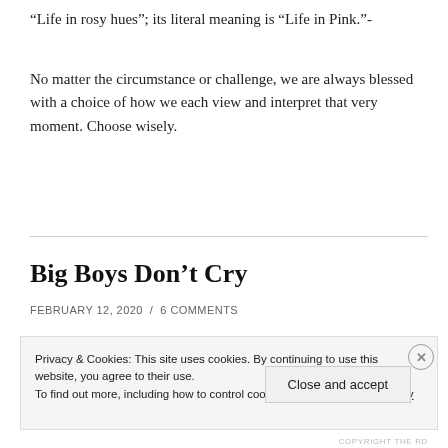“Life in rosy hues”; its literal meaning is “Life in Pink.”-
No matter the circumstance or challenge, we are always blessed with a choice of how we each view and interpret that very moment. Choose wisely.
Big Boys Don’t Cry
FEBRUARY 12, 2020  /  6 COMMENTS
Privacy & Cookies: This site uses cookies. By continuing to use this website, you agree to their use.
To find out more, including how to control cookies, see here: Cookie Policy
Close and accept